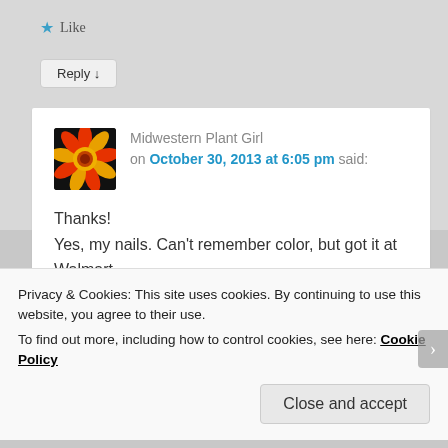★ Like
Reply ↓
[Figure (photo): Avatar photo of a flower (gazania) with red, yellow and orange petals on black background, used as profile image for Midwestern Plant Girl]
Midwestern Plant Girl on October 30, 2013 at 6:05 pm said:
Thanks!
Yes, my nails. Can't remember color, but got it at Walmart.
★ Like
Privacy & Cookies: This site uses cookies. By continuing to use this website, you agree to their use.
To find out more, including how to control cookies, see here: Cookie Policy
Close and accept